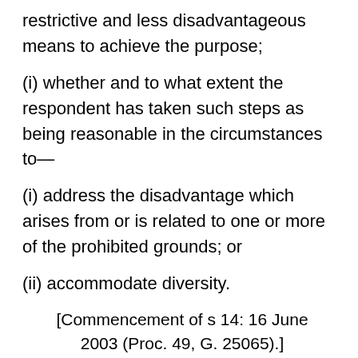restrictive and less disadvantageous means to achieve the purpose;
(i) whether and to what extent the respondent has taken such steps as being reasonable in the circumstances to—
(i) address the disadvantage which arises from or is related to one or more of the prohibited grounds; or
(ii) accommodate diversity.
[Commencement of s 14: 16 June 2003 (Proc. 49, G. 25065).]
15. Hate speech and harassment